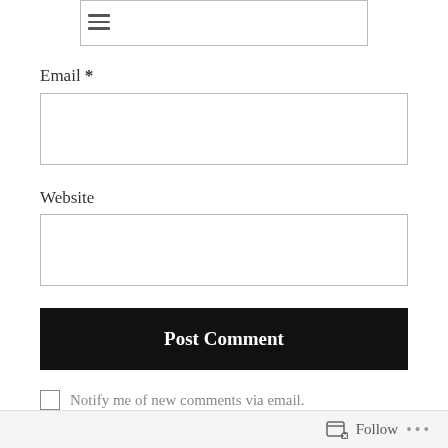Email *
Website
Post Comment
Notify me of new comments via email.
Follow ...